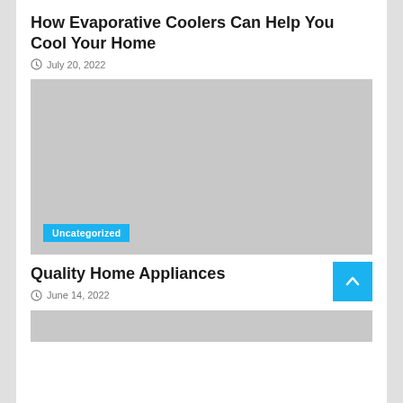How Evaporative Coolers Can Help You Cool Your Home
July 20, 2022
[Figure (photo): Large gray placeholder image for article about evaporative coolers with an 'Uncategorized' category badge in the bottom left corner]
Quality Home Appliances
June 14, 2022
[Figure (photo): Partial gray placeholder image for Quality Home Appliances article, cropped at bottom of page]